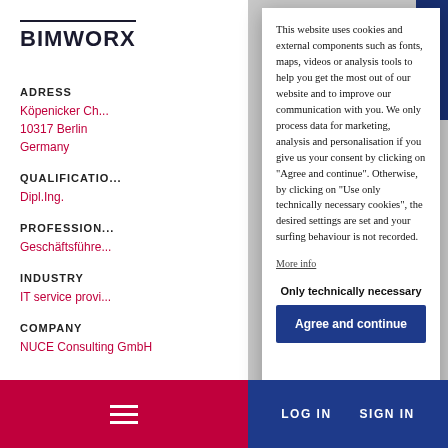BIMWORX
ADRESS
Köpenicker Ch...
10317 Berlin
Germany
QUALIFICATIO...
Dipl.Ing.
PROFESSION...
Geschäftsführe...
INDUSTRY
IT service provi... olling
COMPANY
NUCE Consulting GmbH
This website uses cookies and external components such as fonts, maps, videos or analysis tools to help you get the most out of our website and to improve our communication with you. We only process data for marketing, analysis and personalisation if you give us your consent by clicking on "Agree and continue". Otherwise, by clicking on "Use only technically necessary cookies", the desired settings are set and your surfing behaviour is not recorded.
More info
Only technically necessary
Agree and continue
LOG IN   SIGN IN